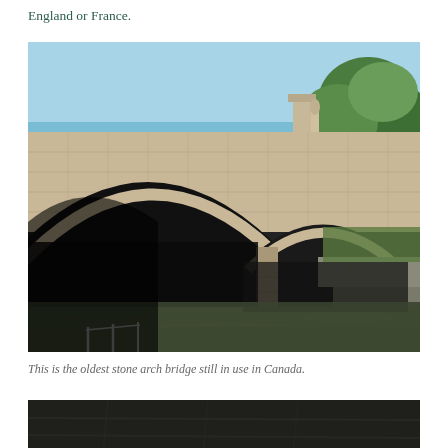England or France.
[Figure (photo): A stone arch bridge with multiple arches over water, viewed from below and to the side. The bridge is made of light-coloured cut stone blocks. Green trees and a blue sky are visible in the background, along with a statue or monument. Water is visible in the foreground and reflects the surroundings.]
This is the oldest stone arch bridge still in use in Canada.
[Figure (photo): A dark, partially visible photograph showing what appears to be stonework or masonry under low light conditions, cropped at the bottom of the page.]